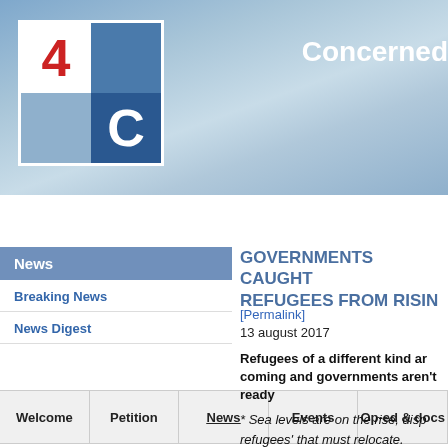[Figure (logo): 4C logo — a 2x2 grid: white cell with red '4', dark blue cell, light blue cell, dark blue cell with white 'C']
Concerned
Welcome | Petition | News | Events | Op-ed & docs
News
Breaking News
News Digest
GOVERNMENTS CAUGHT REFUGEES FROM RISIN
[Permalink]
13 august 2017
Refugees of a different kind are coming and governments aren't ready
* Sea levels are on the rise, disp refugees' that must relocate.